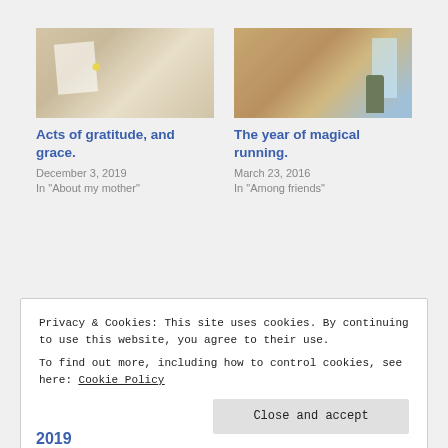[Figure (photo): A hand holding an open notebook/letter with handwritten text and a yellow sticker, warm tones]
Acts of gratitude, and grace.
December 3, 2019
In "About my mother"
[Figure (photo): A person in floral shirt and shorts standing against a wood-paneled wall next to a door]
The year of magical running.
March 23, 2016
In "Among friends"
Privacy & Cookies: This site uses cookies. By continuing to use this website, you agree to their use.
To find out more, including how to control cookies, see here: Cookie Policy
Close and accept
2019